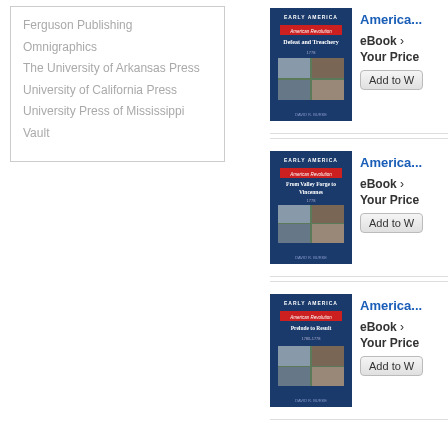Ferguson Publishing
Omnigraphics
The University of Arkansas Press
University of California Press
University Press of Mississippi
Vault
[Figure (illustration): Book cover: Early America - Defeat and Treachery]
America...
eBook ›
Your Price
[Figure (illustration): Book cover: Early America - From Valley Forge to Vincennes]
America...
eBook ›
Your Price
[Figure (illustration): Book cover: Early America - Prelude to Result]
America...
eBook ›
Your Price